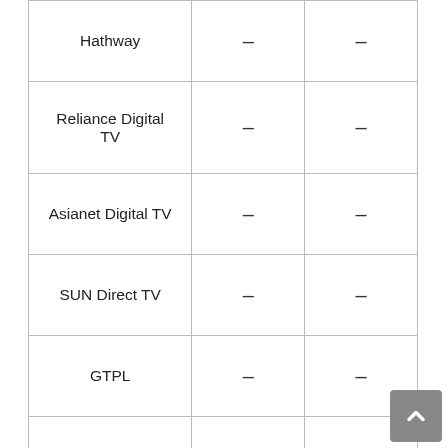| Operator | Channel No. | Channel No. |
| --- | --- | --- |
| Hathway | – | – |
| Reliance Digital TV | – | – |
| Asianet Digital TV | – | – |
| SUN Direct TV | – | – |
| GTPL | – | – |
| DEN | – | – |
| Jio TV | – | – |
| Siti Cable | – | – |
This is a List of INH 24X7 Channel No. for all operators. you can make PDF and save them on your personal computer.